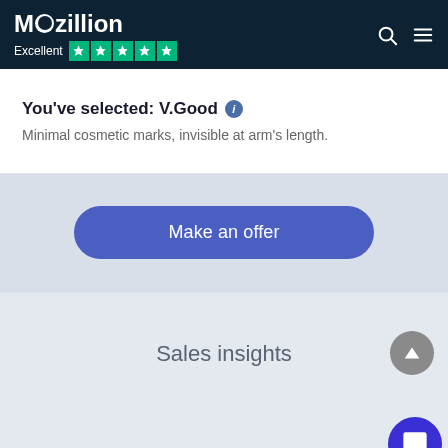Moozillion — Excellent (5 stars Trustpilot)
You've selected: V.Good — Minimal cosmetic marks, invisible at arm's length.
Make an offer
Sales insights